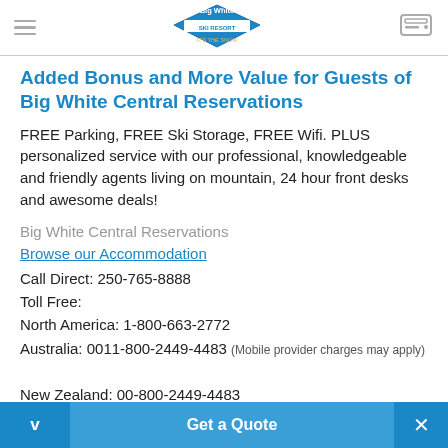Big White Ski Resort — It's The Snow (logo)
Added Bonus and More Value for Guests of Big White Central Reservations
FREE Parking, FREE Ski Storage, FREE Wifi. PLUS personalized service with our professional, knowledgeable and friendly agents living on mountain, 24 hour front desks and awesome deals!
Big White Central Reservations
Browse our Accommodation
Call Direct: 250-765-8888
Toll Free:
North America: 1-800-663-2772
Australia: 0011-800-2449-4483 (Mobile provider charges may apply)
New Zealand: 00-800-2449-4483
V  Get a Quote  ×